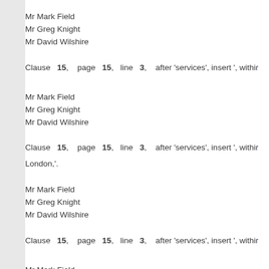Mr Mark Field
Mr Greg Knight
Mr David Wilshire
Clause 15, page 15, line 3, after 'services', insert ', withi...
Mr Mark Field
Mr Greg Knight
Mr David Wilshire
Clause 15, page 15, line 3, after 'services', insert ', withi...
London,'.
Mr Mark Field
Mr Greg Knight
Mr David Wilshire
Clause 15, page 15, line 3, after 'services', insert ', withi...
Mr Mark Field
Mr Greg Knight
Mr David Wilshire